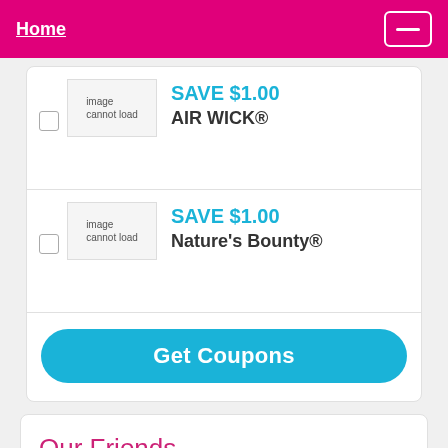Home
[Figure (screenshot): Image cannot load placeholder for Air Wick coupon]
SAVE $1.00 AIR WICK®
[Figure (screenshot): Image cannot load placeholder for Nature's Bounty coupon]
SAVE $1.00 Nature's Bounty®
Get Coupons
Our Friends